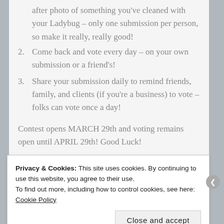after photo of something you've cleaned with your Ladybug – only one submission per person, so make it really, really good!
2. Come back and vote every day – on your own submission or a friend's!
3. Share your submission daily to remind friends, family, and clients (if you're a business) to vote – folks can vote once a day!
Contest opens MARCH 29th and voting remains open until APRIL 29th! Good Luck!
Privacy & Cookies: This site uses cookies. By continuing to use this website, you agree to their use.
To find out more, including how to control cookies, see here: Cookie Policy
Close and accept